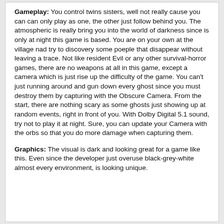Gameplay: You control twins sisters, well not really cause you can can only play as one, the other just follow behind you. The atmospheric is really bring you into the world of darkness since is only at night this game is based. You are on your own at the village nad try to discovery some poeple that disappear without leaving a trace. Not like resident Evil or any other survival-horror games, there are no weapons at all in this game, except a camera which is just rise up the difficulty of the game. You can't just running around and gun down every ghost since you must destroy them by capturing with the Obscure Camera. From the start, there are nothing scary as some ghosts just showing up at random events, right in front of you. With Dolby Digital 5.1 sound, try not to play it at night. Sure, you can update your Camera with the orbs so that you do more damage when capturing them.
Graphics: The visual is dark and looking great for a game like this. Even since the developer just overuse black-grey-white almost every environment, is looking unique.